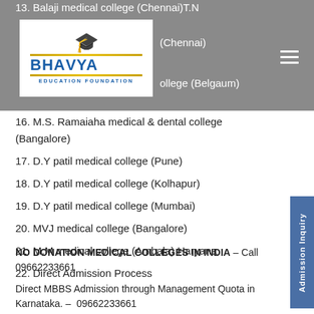13. Balaji medical college (Chennai)T.N
[Figure (logo): Bhavya Education Foundation logo with graduation cap icon]
14. (Chennai)
15. ollege (Belgaum)
16. M.S. Ramaiaha medical & dental college (Bangalore)
17. D.Y patil medical college (Pune)
18. D.Y patil medical college (Kolhapur)
19. D.Y patil medical college (Mumbai)
20. MVJ medical college (Bangalore)
21. M.M medical college (Ambala) Haryana
22. Direct Admission Process
NO DONATION MEDICAL COLLEGES IN INDIA – Call 09662233661
Direct MBBS Admission through Management Quota in Karnataka. – 09662233661